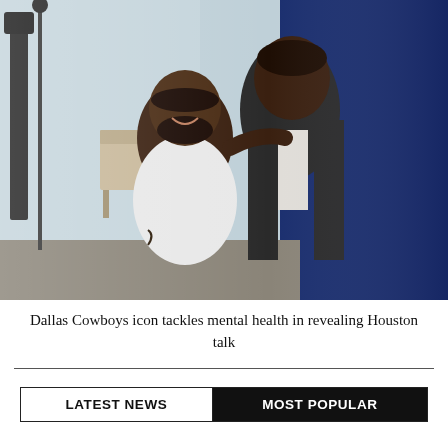[Figure (photo): Two men standing together smiling. The shorter man on the left wears a white polo shirt and has tattoos on his arm. The taller man on the right wears a dark suit jacket over a light striped shirt. They are in an event/conference room setting with a black curtain and speaker stand visible in the background.]
Dallas Cowboys icon tackles mental health in revealing Houston talk
| LATEST NEWS | MOST POPULAR |
| --- | --- |